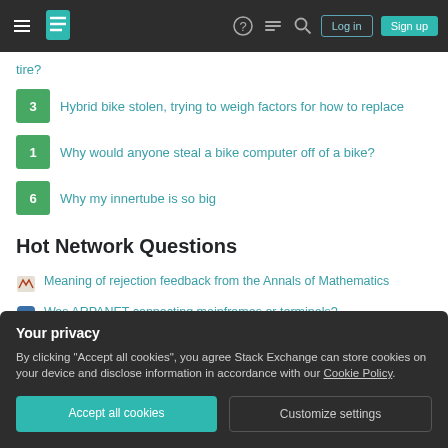Stack Exchange navigation bar with Log in and Sign up buttons
tire?
3  Hybrid bike stolen, trying to weigh factors for how to replace
1  Why would anyone steal a bike computer off of a bike?
6  Why my innertube is so big
Hot Network Questions
Meaning of rejection feedback from the Annals of Mathematics
Was ARPANET connecting mainframes or terminals?
Why don't deuterons produce a helium-4 nucleus when they fuse?
Your privacy
By clicking "Accept all cookies", you agree Stack Exchange can store cookies on your device and disclose information in accordance with our Cookie Policy.
Accept all cookies  Customize settings